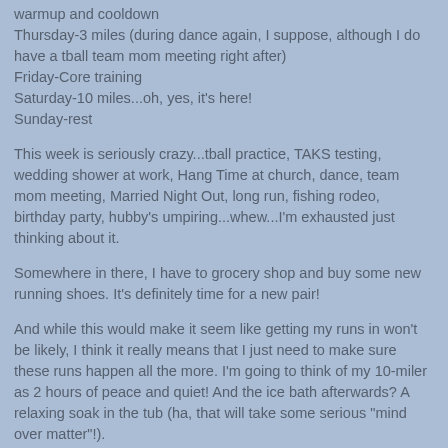warmup and cooldown
Thursday-3 miles (during dance again, I suppose, although I do have a tball team mom meeting right after)
Friday-Core training
Saturday-10 miles...oh, yes, it's here!
Sunday-rest
This week is seriously crazy...tball practice, TAKS testing, wedding shower at work, Hang Time at church, dance, team mom meeting, Married Night Out, long run, fishing rodeo, birthday party, hubby's umpiring...whew...I'm exhausted just thinking about it.
Somewhere in there, I have to grocery shop and buy some new running shoes. It's definitely time for a new pair!
And while this would make it seem like getting my runs in won't be likely, I think it really means that I just need to make sure these runs happen all the more. I'm going to think of my 10-miler as 2 hours of peace and quiet! And the ice bath afterwards? A relaxing soak in the tub (ha, that will take some serious "mind over matter"!).